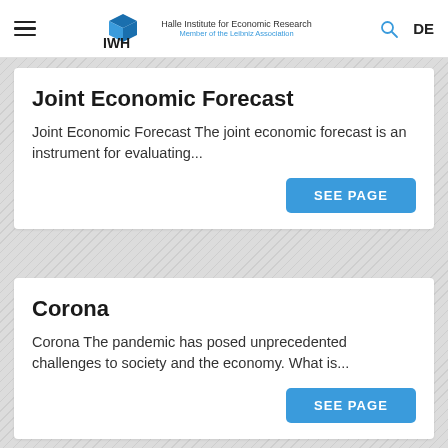IWH – Halle Institute for Economic Research | Member of the Leibniz Association | DE
Joint Economic Forecast
Joint Economic Forecast The joint economic forecast is an instrument for evaluating...
Corona
Corona The pandemic has posed unprecedented challenges to society and the economy. What is...